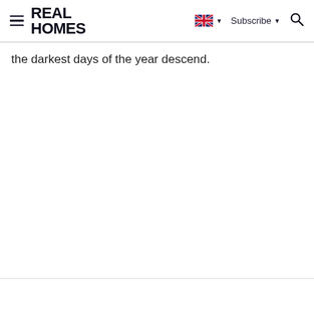REAL HOMES — Subscribe
the darkest days of the year descend.